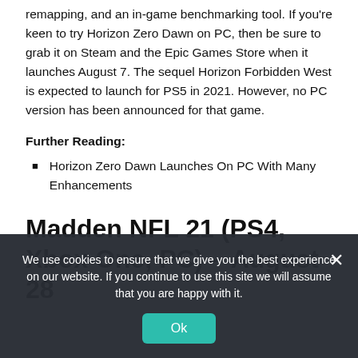remapping, and an in-game benchmarking tool. If you're keen to try Horizon Zero Dawn on PC, then be sure to grab it on Steam and the Epic Games Store when it launches August 7. The sequel Horizon Forbidden West is expected to launch for PS5 in 2021. However, no PC version has been announced for that game.
Further Reading:
Horizon Zero Dawn Launches On PC With Many Enhancements
Madden NFL 21 (PS4, Xbox One, PC) – August 28
We use cookies to ensure that we give you the best experience on our website. If you continue to use this site we will assume that you are happy with it.